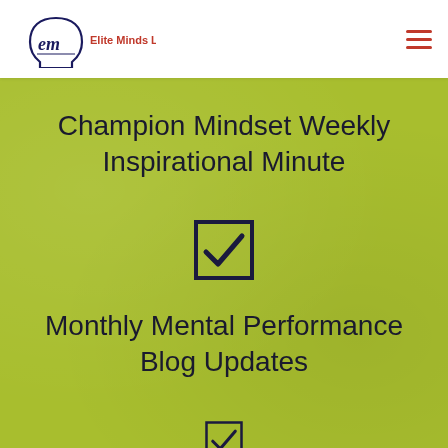[Figure (logo): Elite Minds LLC logo with stylized 'em' script letters inside a head silhouette outline, with 'Elite Minds LLC' text in red]
[Figure (illustration): Hamburger menu icon with three horizontal red lines]
Champion Mindset Weekly Inspirational Minute
[Figure (illustration): Checkbox icon with a checkmark inside a square box, dark navy color]
Monthly Mental Performance Blog Updates
[Figure (illustration): Checkbox icon with a checkmark inside a square box, dark navy color, partially visible at bottom]